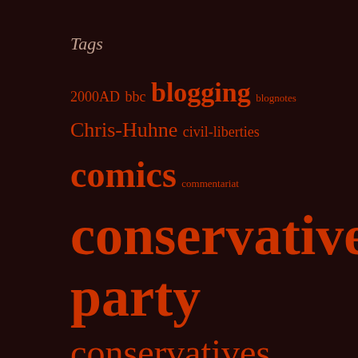Tags
[Figure (infographic): Tag cloud showing various political blog tags in different font sizes on a dark red-brown background. Tags include: 2000AD, bbc, blogging, blognotes, Chris-Huhne, civil-liberties, comics, commentariat, conservative-party, conservatives, culture wars, david-cameron, economics, elections, electoral-reform, environment, eu, film, gordon-brown, guardian, judge-dredd, labour, labour-party, land-value-taxation, leadership-election, lembit-opik, lib-dem-leadership, liberal-democrats. Font sizes vary to indicate frequency/importance.]